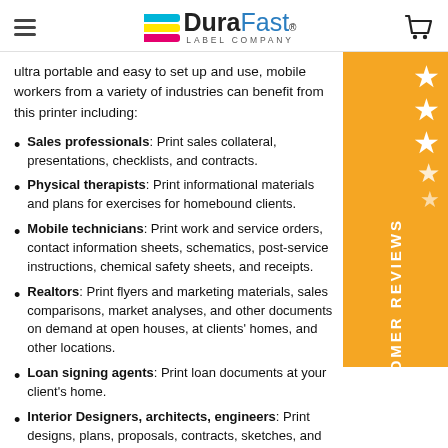DuraFast® LABEL COMPANY
ultra portable and easy to set up and use, mobile workers from a variety of industries can benefit from this printer including:
Sales professionals: Print sales collateral, presentations, checklists, and contracts.
Physical therapists: Print informational materials and plans for exercises for homebound clients.
Mobile technicians: Print work and service orders, contact information sheets, schematics, post-service instructions, chemical safety sheets, and receipts.
Realtors: Print flyers and marketing materials, sales comparisons, market analyses, and other documents on demand at open houses, at clients' homes, and other locations.
Loan signing agents: Print loan documents at your client's home.
Interior Designers, architects, engineers: Print designs, plans, proposals, contracts, sketches, and other documents.
The ability to print colour documents at virtually any location helps
[Figure (infographic): Orange sidebar banner with CUSTOMER REVIEWS text (vertical), star ratings, and a Verified Reviews circular badge]